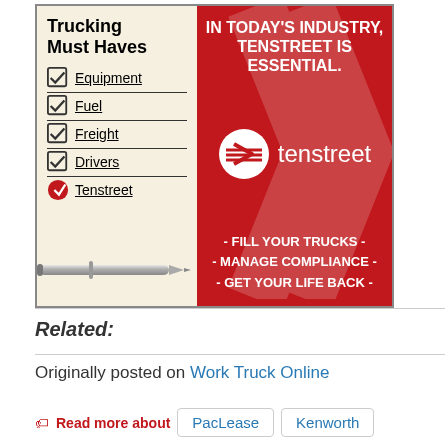[Figure (illustration): Advertisement for Tenstreet trucking software. Left panel (cream background): title 'Trucking Must Haves' with checklist items (Equipment, Fuel, Freight, Drivers, Tenstreet) and a pen image. Right panel (red background): headline 'IN TODAY'S INDUSTRY, TENSTREET IS ESSENTIAL.' with Tenstreet logo and taglines '- FILL YOUR TRUCKS - - MANAGE COMPLIANCE - - GET YOUR LIFE BACK -']
Related:
Originally posted on Work Truck Online
Read more about   PacLease   Kenworth